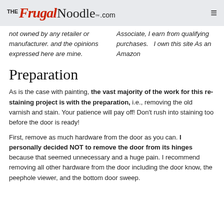THE Frugal Noodle™.com
not owned by any retailer or manufacturer. and the opinions expressed here are mine. Associate, I earn from qualifying purchases.   I own this site  As an Amazon
Preparation
As is the case with painting, the vast majority of the work for this re-staining project is with the preparation, i.e., removing the old varnish and stain. Your patience will pay off! Don't rush into staining too before the door is ready!
First, remove as much hardware from the door as you can. I personally decided NOT to remove the door from its hinges because that seemed unnecessary and a huge pain. I recommend removing all other hardware from the door including the door know, the peephole viewer, and the bottom door sweep.